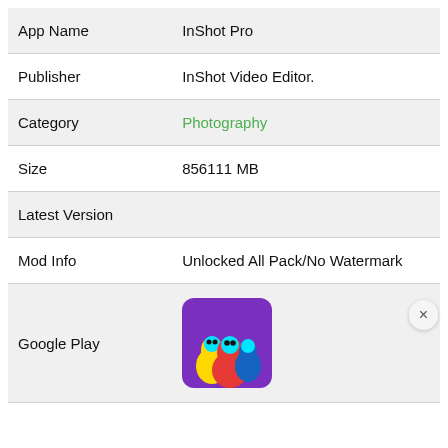| App Name | InShot Pro |
| Publisher | InShot Video Editor. |
| Category | Photography |
| Size | 856111 MB |
| Latest Version |  |
| Mod Info | Unlocked All Pack/No Watermark |
| Google Play | [app icon image] |